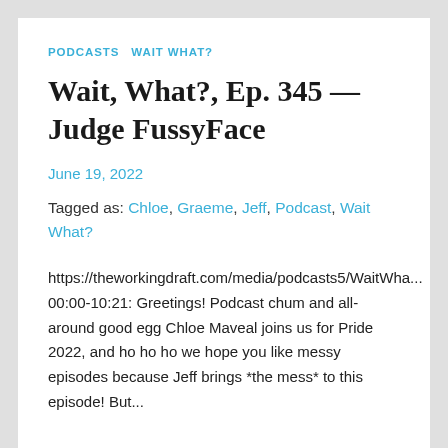PODCASTS   WAIT WHAT?
Wait, What?, Ep. 345 — Judge FussyFace
June 19, 2022
Tagged as: Chloe, Graeme, Jeff, Podcast, Wait What?
https://theworkingdraft.com/media/podcasts5/WaitWha... 00:00-10:21: Greetings! Podcast chum and all-around good egg Chloe Maveal joins us for Pride 2022, and ho ho ho we hope you like messy episodes because Jeff brings *the mess* to this episode! But...